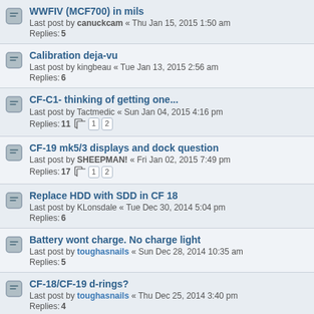WWFIV (MCF700) in mils — Last post by canuckcam « Thu Jan 15, 2015 1:50 am — Replies: 5
Calibration deja-vu — Last post by kingbeau « Tue Jan 13, 2015 2:56 am — Replies: 6
CF-C1- thinking of getting one... — Last post by Tactmedic « Sun Jan 04, 2015 4:16 pm — Replies: 11 [1][2]
CF-19 mk5/3 displays and dock question — Last post by SHEEPMAN! « Fri Jan 02, 2015 7:49 pm — Replies: 17 [1][2]
Replace HDD with SDD in CF 18 — Last post by KLonsdale « Tue Dec 30, 2014 5:04 pm — Replies: 6
Battery wont charge. No charge light — Last post by toughasnails « Sun Dec 28, 2014 10:35 am — Replies: 5
CF-18/CF-19 d-rings? — Last post by toughasnails « Thu Dec 25, 2014 3:40 pm — Replies: 4
Games to do on a CF-19 Mk5? — Last post by safn1949 « Sat Dec 20, 2014 4:33 pm — Replies: 7
CF-19WJF7A1M — Last post by ADOR « Mon Dec 15, 2014 8:14 pm — Replies: 13 [1][2]
Not able to find drivers for my paticular model number